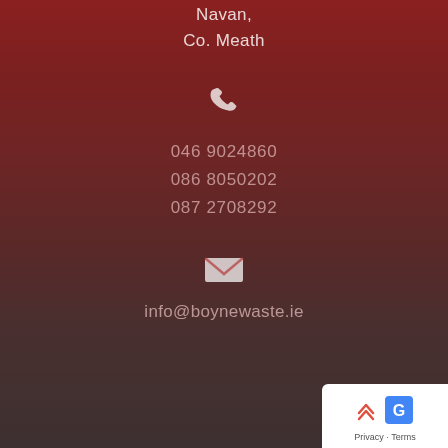Navan,
Co. Meath
[Figure (illustration): White telephone/phone handset icon]
046 9024860
086 8050202
087 2708292
[Figure (illustration): White envelope/email icon]
info@boynewaste.ie
[Figure (other): reCAPTCHA badge widget with up-arrow chevron and Google logo, showing Privacy and Terms links]